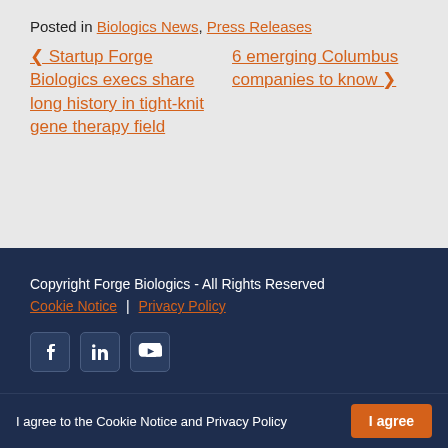Posted in Biologics News, Press Releases
< Startup Forge Biologics execs share long history in tight-knit gene therapy field
6 emerging Columbus companies to know >
Copyright Forge Biologics - All Rights Reserved
Cookie Notice | Privacy Policy
[Figure (other): Social media icons: Facebook, LinkedIn, YouTube]
I agree to the Cookie Notice and Privacy Policy  [I agree button]